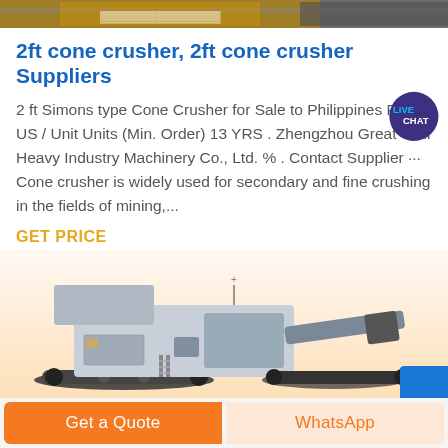[Figure (photo): Top strip showing industrial machinery/crusher equipment in yellow and grey tones]
2ft cone crusher, 2ft cone crusher Suppliers
2 ft Simons type Cone Crusher for Sale to Philippines Price . US / Unit Units (Min. Order) 13 YRS . Zhengzhou Great Wall Heavy Industry Machinery Co., Ltd. % . Contact Supplier ··· Cone crusher is widely used for secondary and fine crushing in the fields of mining,...
GET PRICE
[Figure (photo): Product image of a mobile jaw crusher machine with tracks, grey and blue in color, on a warm gradient background]
Get a Quote
WhatsApp